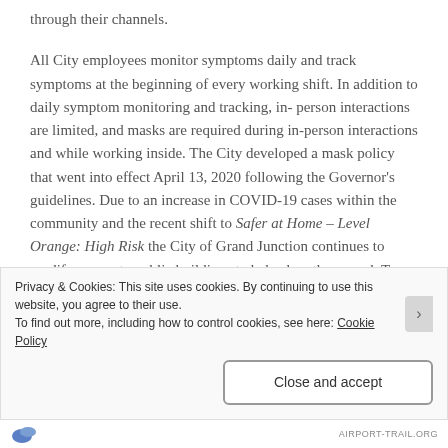through their channels.
All City employees monitor symptoms daily and track symptoms at the beginning of every working shift. In addition to daily symptom monitoring and tracking, in-person interactions are limited, and masks are required during in-person interactions and while working inside. The City developed a mask policy that went into effect April 13, 2020 following the Governor’s guidelines. Due to an increase in COVID-19 cases within the community and the recent shift to Safer at Home – Level Orange: High Risk the City of Grand Junction continues to modify access to public buildings to help slow the spread. To
Privacy & Cookies: This site uses cookies. By continuing to use this website, you agree to their use.
To find out more, including how to control cookies, see here: Cookie Policy
Close and accept